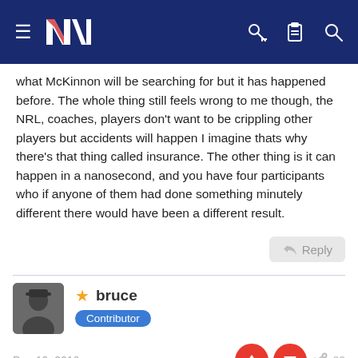NZ [navigation bar with logo, hamburger menu, key, clipboard, search icons]
what McKinnon will be searching for but it has happened before. The whole thing still feels wrong to me though, the NRL, coaches, players don't want to be crippling other players but accidents will happen I imagine thats why there's that thing called insurance. The other thing is it can happen in a nanosecond, and you have four participants who if anyone of them had done something minutely different there would have been a different result.
Reply
bruce
Contributor
Dec 19, 2016
kabkram said: